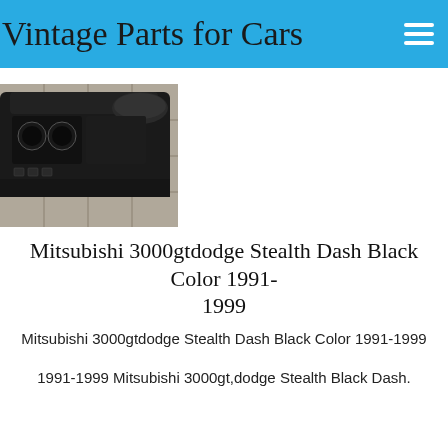Vintage Parts for Cars
[Figure (photo): Photo of a black car dashboard/dash assembly for Mitsubishi 3000GT/Dodge Stealth, shown on a tiled floor]
Mitsubishi 3000gtdodge Stealth Dash Black Color 1991-1999
Mitsubishi 3000gtdodge Stealth Dash Black Color 1991-1999
1991-1999 Mitsubishi 3000gt,dodge Stealth Black Dash.